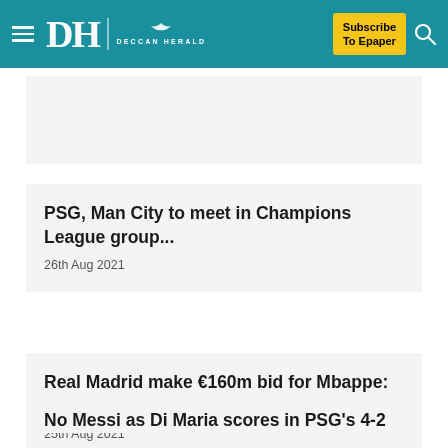DH Deccan Herald — Subscribe To Epaper
PSG, Man City to meet in Champions League group...
26th Aug 2021
Real Madrid make €160m bid for Mbappe: Report...
25th Aug 2021
No Messi as Di Maria scores in PSG's 4-2...